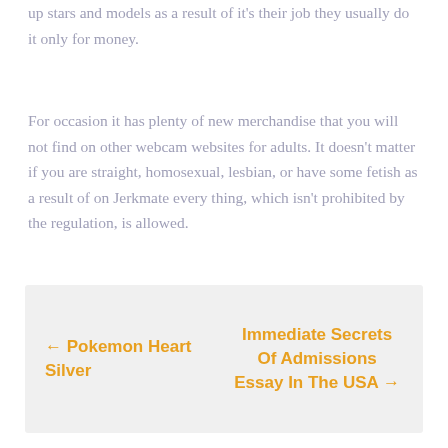up stars and models as a result of it's their job they usually do it only for money.
For occasion it has plenty of new merchandise that you will not find on other webcam websites for adults. It doesn't matter if you are straight, homosexual, lesbian, or have some fetish as a result of on Jerkmate every thing, which isn't prohibited by the regulation, is allowed.
← Pokemon Heart Silver
Immediate Secrets Of Admissions Essay In The USA →